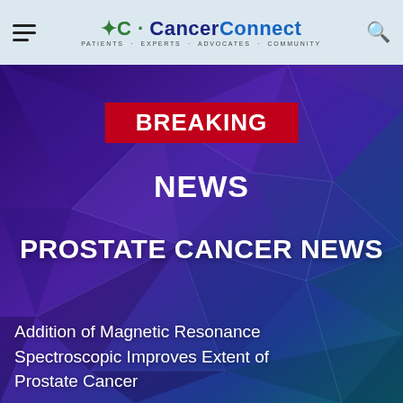CancerConnect — Patients · Experts · Advocates · Community
[Figure (illustration): Breaking News hero image with geometric purple-to-teal polygon background, red 'BREAKING NEWS' badge, bold white 'PROSTATE CANCER NEWS' text, and article headline below]
BREAKING NEWS
PROSTATE CANCER NEWS
Addition of Magnetic Resonance Spectroscopic Improves Extent of Prostate Cancer